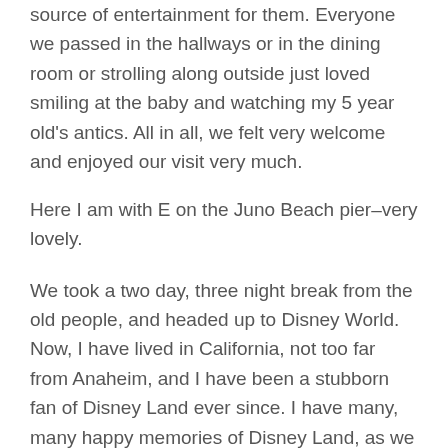source of entertainment for them. Everyone we passed in the hallways or in the dining room or strolling along outside just loved smiling at the baby and watching my 5 year old's antics. All in all, we felt very welcome and enjoyed our visit very much.
Here I am with E on the Juno Beach pier–very lovely.
We took a two day, three night break from the old people, and headed up to Disney World. Now, I have lived in California, not too far from Anaheim, and I have been a stubborn fan of Disney Land ever since. I have many, many happy memories of Disney Land, as we went almost every year we lived there–sometimes more than once. That being said, Disney Land sucks ass compared to Disney World. I'm sorry, it just does.